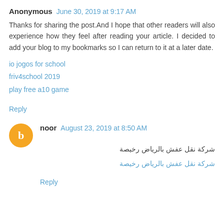Anonymous  June 30, 2019 at 9:17 AM
Thanks for sharing the post.And I hope that other readers will also experience how they feel after reading your article. I decided to add your blog to my bookmarks so I can return to it at a later date.
io jogos for school
friv4school 2019
play free a10 game
Reply
noor  August 23, 2019 at 8:50 AM
شركة نقل عفش بالرياض رخيصة
شركة نقل عفش بالرياض رخيصة
Reply